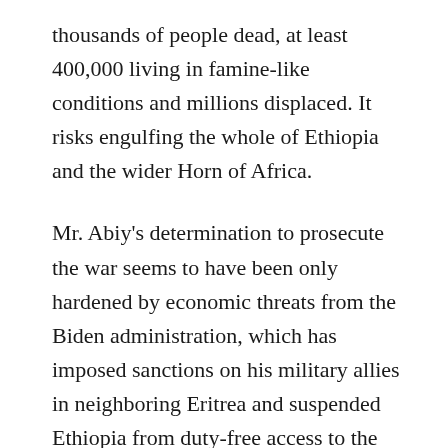thousands of people dead, at least 400,000 living in famine-like conditions and millions displaced. It risks engulfing the whole of Ethiopia and the wider Horn of Africa.
Mr. Abiy's determination to prosecute the war seems to have been only hardened by economic threats from the Biden administration, which has imposed sanctions on his military allies in neighboring Eritrea and suspended Ethiopia from duty-free access to the U.S. market.
Secretary of State Antony J. Blinken, who is